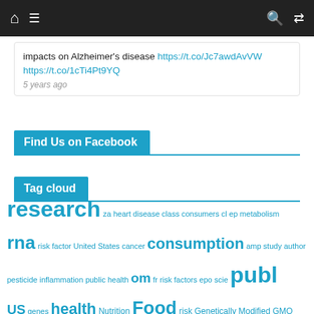navigation bar with home, menu, search, shuffle icons
impacts on Alzheimer's disease https://t.co/Jc7awdAvVW https://t.co/1cTi4Pt9YQ
5 years ago
Find Us on Facebook
Tag cloud
research za heart disease class consumers cl ep metabolism rna risk factor United States cancer consumption amp study author pesticide inflammation public health om fr risk factors epo scie publ US genes health Nutrition Food risk Genetically Modified GMO protein high blood pressure regu scientist researcher